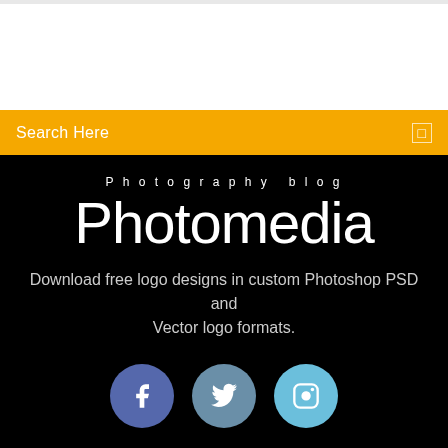[Figure (screenshot): Top grey/white section of a website]
Search Here
Photography blog
Photomedia
Download free logo designs in custom Photoshop PSD and Vector logo formats.
[Figure (illustration): Three social media icons: Facebook, Twitter, Instagram]